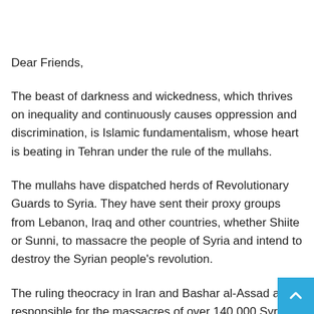Dear Friends,
The beast of darkness and wickedness, which thrives on inequality and continuously causes oppression and discrimination, is Islamic fundamentalism, whose heart is beating in Tehran under the rule of the mullahs.
The mullahs have dispatched herds of Revolutionary Guards to Syria. They have sent their proxy groups from Lebanon, Iraq and other countries, whether Shiite or Sunni, to massacre the people of Syria and intend to destroy the Syrian people's revolution.
The ruling theocracy in Iran and Bashar al-Assad are responsible for the massacres of over 140,000 Syrian women